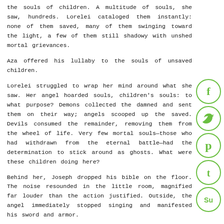the souls of children. A multitude of souls, she saw, hundreds. Lorelei cataloged them instantly: none of them saved, many of them swinging toward the light, a few of them still shadowy with unshed mortal grievances.
Aza offered his lullaby to the souls of unsaved children.
Lorelei struggled to wrap her mind around what she saw. Her angel hoarded souls, children's souls: to what purpose? Demons collected the damned and sent them on their way; angels scooped up the saved. Devils consumed the remainder, removing them from the wheel of life. Very few mortal souls—those who had withdrawn from the eternal battle—had the determination to stick around as ghosts. What were these children doing here?
Behind her, Joseph dropped his bible on the floor. The noise resounded in the little room, magnified far louder than the action justified. Outside, the angel immediately stopped singing and manifested his sword and armor.
“You’d better go,” Joseph warned.
Lorelei worked up a vicious grin. “I’m here to see Aza,” she reminded